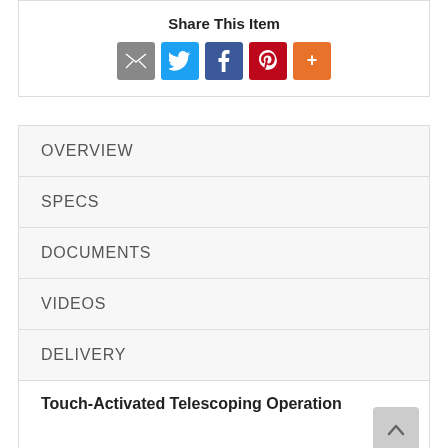Share This Item
[Figure (infographic): Social sharing icons: email (grey), Twitter (blue), Facebook (dark blue), Pinterest (red), More (orange)]
OVERVIEW
SPECS
DOCUMENTS
VIDEOS
DELIVERY
Touch-Activated Telescoping Operation